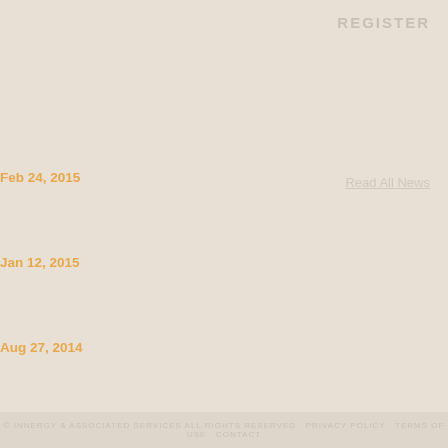REGISTER
Read All News
Feb 24, 2015
Looking at Daryl Sharp's Personality Types
Read More
Jan 12, 2015
Dealing with Archetypal/Functional Opposites
Read More
Aug 27, 2014
Exercise: Using the Functions Together
Read More